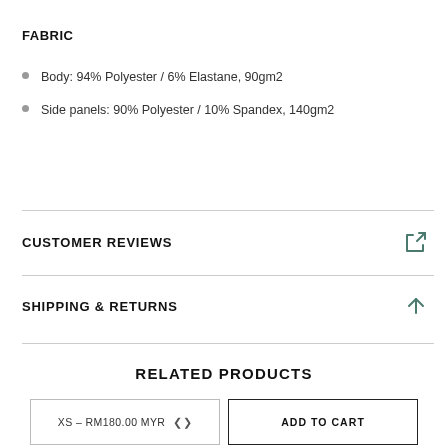FABRIC
Body: 94% Polyester / 6% Elastane, 90gm2
Side panels: 90% Polyester / 10% Spandex, 140gm2
CUSTOMER REVIEWS
SHIPPING & RETURNS
RELATED PRODUCTS
XS – RM180.00 MYR
ADD TO CART